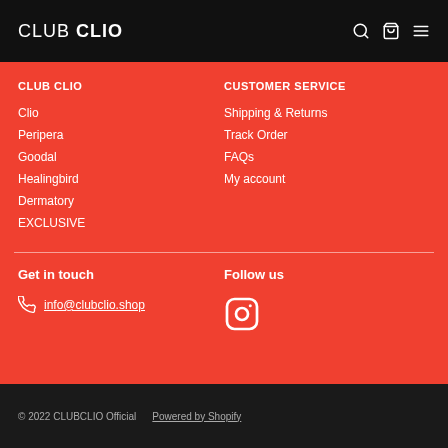CLUB CLIO
CLUB CLIO
Clio
Peripera
Goodal
Healingbird
Dermatory
EXCLUSIVE
CUSTOMER SERVICE
Shipping & Returns
Track Order
FAQs
My account
Get in touch
info@clubclio.shop
Follow us
[Figure (logo): Instagram icon circle]
© 2022 CLUBCLIO Official   Powered by Shopify